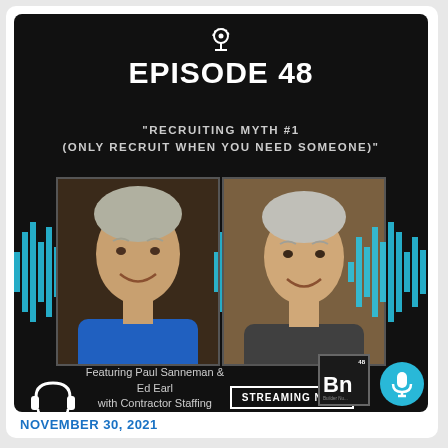[Figure (other): Podcast episode promotional card on dark background. Shows Episode 48 titled 'Recruiting Myth #1 (Only Recruit When You Need Someone)' featuring headshots of Paul Sanneman and Ed Earl with Contractor Staffing Source. Includes audio waveform graphics, headphones icon, Builder Nuggets (Bn) logo, and 'Streaming Now' text. A cyan microphone circle button overlays the bottom right.]
NOVEMBER 30, 2021